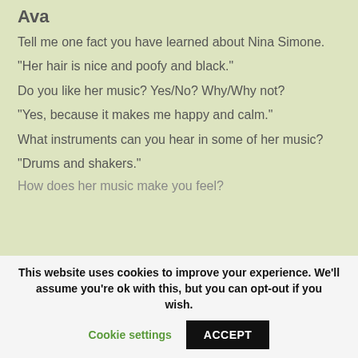Ava
Tell me one fact you have learned about Nina Simone.
“Her hair is nice and poofy and black.”
Do you like her music? Yes/No? Why/Why not?
“Yes, because it makes me happy and calm.”
What instruments can you hear in some of her music?
“Drums and shakers.”
How does her music make you feel?
This website uses cookies to improve your experience. We’ll assume you’re ok with this, but you can opt-out if you wish.
Cookie settings
ACCEPT